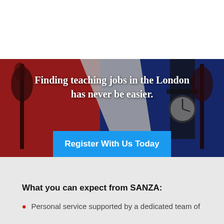[Figure (illustration): A banner image with a UK Union Jack flag background showing red, white and blue sections with a silhouette of Big Ben clock tower. White bold text reads 'Finding teaching jobs in the London has never be easier.' Below is a bright blue button with white text 'Register With Us Today'.]
What you can expect from SANZA:
Personal service supported by a dedicated team of